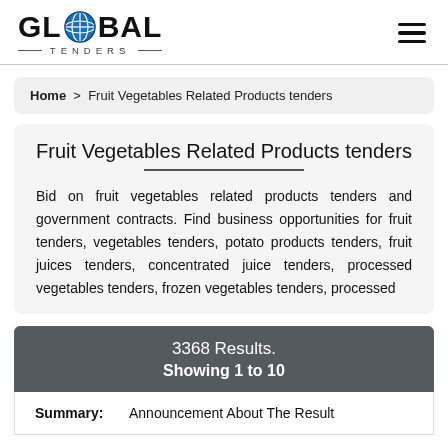[Figure (logo): Global Tenders logo with globe icon and horizontal lines flanking 'TENDERS' subtitle]
Home > Fruit Vegetables Related Products tenders
Fruit Vegetables Related Products tenders
Bid on fruit vegetables related products tenders and government contracts. Find business opportunities for fruit tenders, vegetables tenders, potato products tenders, fruit juices tenders, concentrated juice tenders, processed vegetables tenders, frozen vegetables tenders, processed
3368 Results.
Showing 1 to 10
Summary:   Announcement About The Result